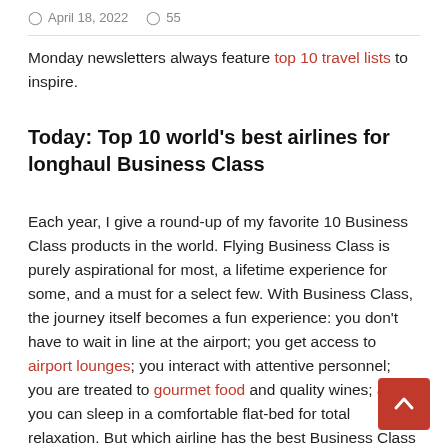April 18, 2022  55
Monday newsletters always feature top 10 travel lists to inspire.
Today: Top 10 world's best airlines for longhaul Business Class
Each year, I give a round-up of my favorite 10 Business Class products in the world. Flying Business Class is purely aspirational for most, a lifetime experience for some, and a must for a select few. With Business Class, the journey itself becomes a fun experience: you don't have to wait in line at the airport; you get access to airport lounges; you interact with attentive personnel; you are treated to gourmet food and quality wines; and you can sleep in a comfortable flat-bed for total relaxation. But which airline has the best Business Class cabin product anno 2022? Here's my selection of the top best Business Class cabins (reflecting my own personal preferences).